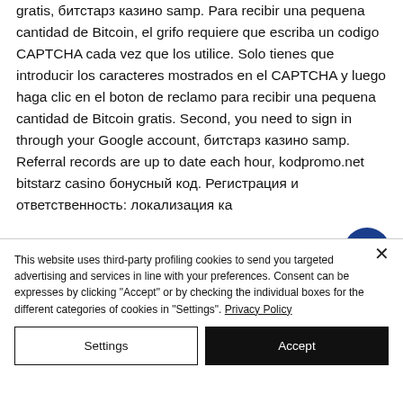gratis, битстарз казино samp. Para recibir una pequena cantidad de Bitcoin, el grifo requiere que escriba un codigo CAPTCHA cada vez que los utilice. Solo tienes que introducir los caracteres mostrados en el CAPTCHA y luego haga clic en el boton de reclamo para recibir una pequena cantidad de Bitcoin gratis. Second, you need to sign in through your Google account, битстарз казино samp. Referral records are up to date each hour, kodpromo.net bitstarz casino бонусный код. Регистрация и ответственность: локализация ка…
This website uses third-party profiling cookies to send you targeted advertising and services in line with your preferences. Consent can be expresses by clicking "Accept" or by checking the individual boxes for the different categories of cookies in "Settings". Privacy Policy